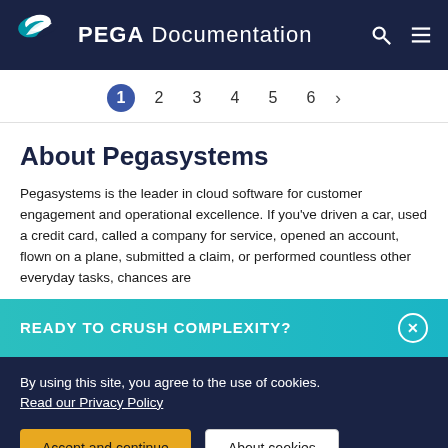PEGA Documentation
1 2 3 4 5 6 >
About Pegasystems
Pegasystems is the leader in cloud software for customer engagement and operational excellence. If you've driven a car, used a credit card, called a company for service, opened an account, flown on a plane, submitted a claim, or performed countless other everyday tasks, chances are
READY TO CRUSH COMPLEXITY?
By using this site, you agree to the use of cookies.
Read our Privacy Policy
Accept and continue   About cookies